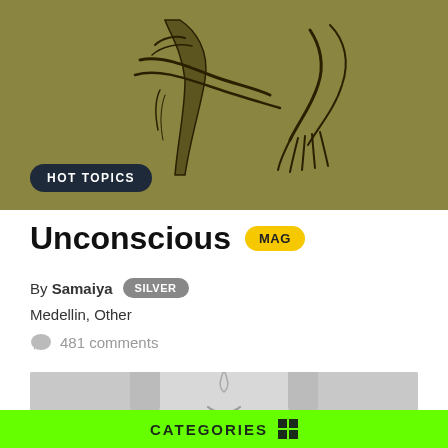[Figure (illustration): Artistic sketch illustration on olive/yellow-green background showing partial human figure with crossed arms]
HOT TOPICS
Unconscious MAG
By Samaiya SILVER
Medellin, Other
481 comments
[Figure (photo): Grayscale close-up photo of a person's face with blonde hair, partially visible]
CATEGORIES